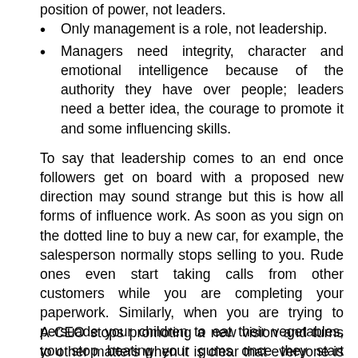Only management is a role, not leadership.
Managers need integrity, character and emotional intelligence because of the authority they have over people; leaders need a better idea, the courage to promote it and some influencing skills.
To say that leadership comes to an end once followers get on board with a proposed new direction may sound strange but this is how all forms of influence work. As soon as you sign on the dotted line to buy a new car, for example, the salesperson normally stops selling to you. Rude ones even start taking calls from other customers while you are completing your paperwork. Similarly, when you are trying to persuade your children to eat their vegetables, you stop beating your gums once they start eating.
A CEO stops promoting a new vision and turns to other matters when it is clear that everyone is on board. Of